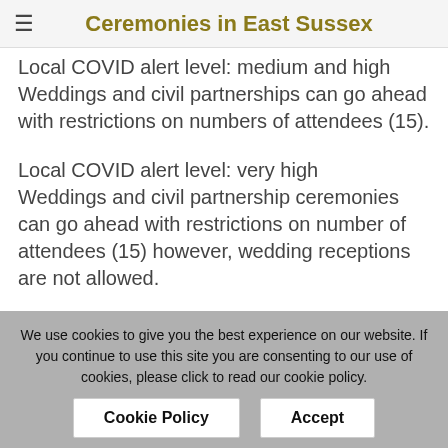Ceremonies in East Sussex
Local COVID alert level: medium and high Weddings and civil partnerships can go ahead with restrictions on numbers of attendees (15).
Local COVID alert level: very high Weddings and civil partnership ceremonies can go ahead with restrictions on number of attendees (15) however, wedding receptions are not allowed.
East Sussex is currently classified as local COVID alert level: medium.
We use cookies to give you the best experience on our website. If you continue to use this site you are consenting to our use of cookies, please click to read our cookie policy.